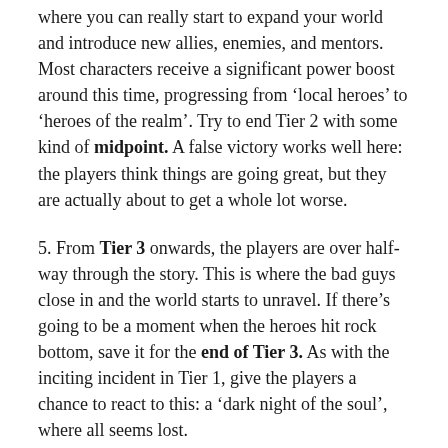where you can really start to expand your world and introduce new allies, enemies, and mentors. Most characters receive a significant power boost around this time, progressing from 'local heroes' to 'heroes of the realm'. Try to end Tier 2 with some kind of midpoint. A false victory works well here: the players think things are going great, but they are actually about to get a whole lot worse.
5. From Tier 3 onwards, the players are over half-way through the story. This is where the bad guys close in and the world starts to unravel. If there's going to be a moment when the heroes hit rock bottom, save it for the end of Tier 3. As with the inciting incident in Tier 1, give the players a chance to react to this: a 'dark night of the soul', where all seems lost.
6. Tier 4 is your finale. The heroes realize what they need to do and face their foes once and for all. The last four